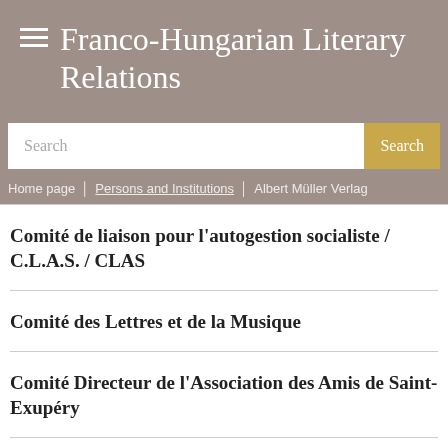Franco-Hungarian Literary Relations
Search
Home page / Persons and Institutions / Albert Müller Verlag
Comité de liaison pour l'autogestion socialiste / C.L.A.S. / CLAS
Comité des Lettres et de la Musique
Comité Directeur de l'Association des Amis de Saint-Exupéry